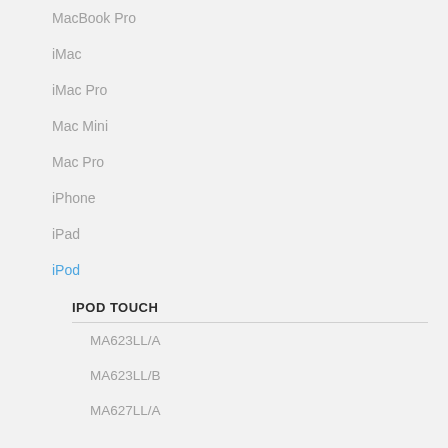MacBook Pro
iMac
iMac Pro
Mac Mini
Mac Pro
iPhone
iPad
iPod
IPOD TOUCH
MA623LL/A
MA623LL/B
MA627LL/A